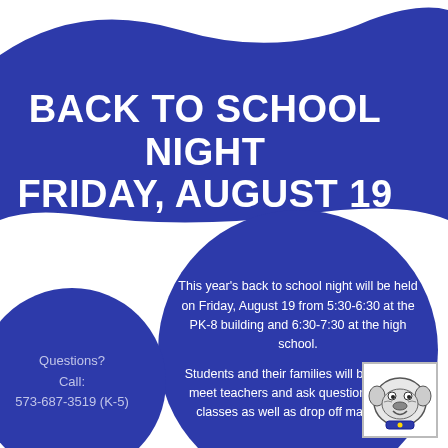BACK TO SCHOOL NIGHT FRIDAY, AUGUST 19
This year's back to school night will be held on Friday, August 19 from 5:30-6:30 at the PK-8 building and 6:30-7:30 at the high school.

Students and their families will be able to meet teachers and ask questions about classes as well as drop off materials.
Questions? Call: 573-687-3519 (K-5)
[Figure (illustration): Bulldog mascot logo — cartoon bulldog head in blue and white]